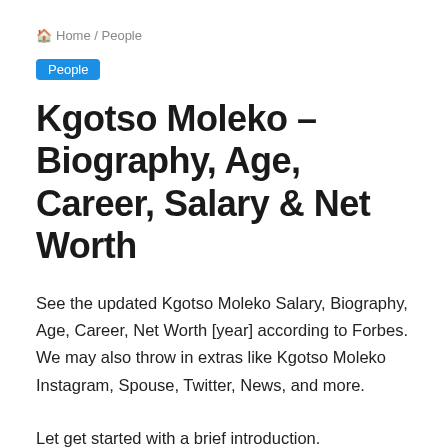🏠 Home / People
People
Kgotso Moleko – Biography, Age, Career, Salary & Net Worth
See the updated Kgotso Moleko Salary, Biography, Age, Career, Net Worth [year] according to Forbes. We may also throw in extras like Kgotso Moleko Instagram, Spouse, Twitter, News, and more.
Let get started with a brief introduction.